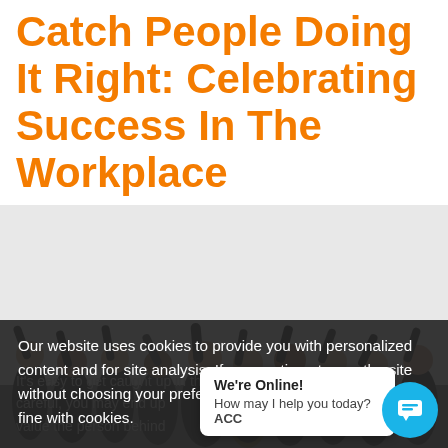Catch People Doing It Right: Celebrating Success In The Workplace
[Figure (photo): Group of diverse people with arms raised in celebration against a light grey background]
Our website uses cookies to provide you with personalized content and for site analysis. If you continue to use the site without choosing your preference, we'll assume that you're fine with cookies.
It's easy to get caught up in the daily grind without taking t careful, you may end up value the person behind
We're Online! How may I help you today? ACC